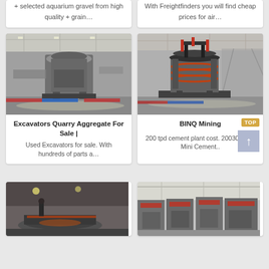+ selected aquarium gravel from high quality + grain…
With Freightfinders you will find cheap prices for air…
[Figure (photo): Industrial crushing machine in a factory/warehouse setting with gravel on floor]
[Figure (photo): Large vertical industrial crusher machine in a factory with gravel floor]
Excavators Quarry Aggregate For Sale | Used Excavators for sale. With hundreds of parts a…
BINQ Mining 200 tpd cement plant cost. 200300 Tpd Mini Cement..
[Figure (photo): Industrial rotary machine/turntable in a factory floor, dark interior]
[Figure (photo): Row of industrial crusher/impact machines in a factory hall]